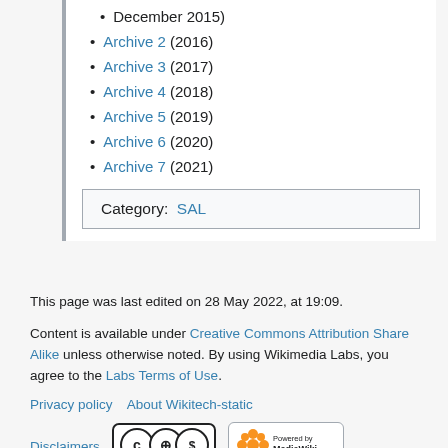December 2015)
Archive 2 (2016)
Archive 3 (2017)
Archive 4 (2018)
Archive 5 (2019)
Archive 6 (2020)
Archive 7 (2021)
Category:  SAL
This page was last edited on 28 May 2022, at 19:09.
Content is available under Creative Commons Attribution Share Alike unless otherwise noted. By using Wikimedia Labs, you agree to the Labs Terms of Use.
Privacy policy   About Wikitech-static
Disclaimers